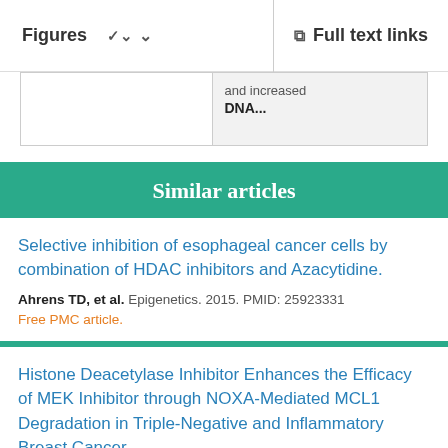Figures    Full text links
and increased DNA...
Similar articles
Selective inhibition of esophageal cancer cells by combination of HDAC inhibitors and Azacytidine.
Ahrens TD, et al. Epigenetics. 2015. PMID: 25923331
Free PMC article.
Histone Deacetylase Inhibitor Enhances the Efficacy of MEK Inhibitor through NOXA-Mediated MCL1 Degradation in Triple-Negative and Inflammatory Breast Cancer.